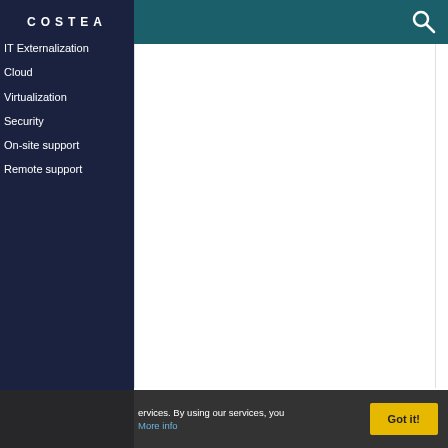COSTEA
IT Externalization
Cloud
Virtualization
Security
On-site support
Remote support
IT SERVICES & CONSULTING
FIND OUT MORE
[Figure (illustration): IT infrastructure illustration: server rack, cloud, and laptop icons in blue and white on dark background with red accent]
[Figure (other): Main content white area (empty/blank)]
ervices. By using our services, you
More info
Got it!